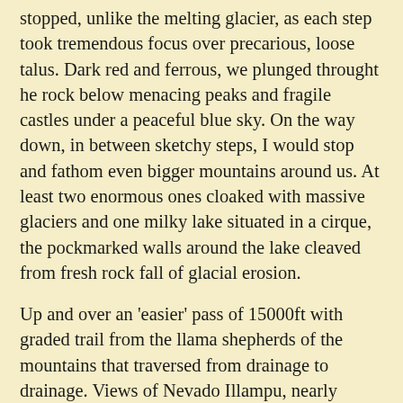stopped, unlike the melting glacier, as each step took tremendous focus over precarious, loose talus. Dark red and ferrous, we plunged throught he rock below menacing peaks and fragile castles under a peaceful blue sky. On the way down, in between sketchy steps, I would stop and fathom even bigger mountains around us. At least two enormous ones cloaked with massive glaciers and one milky lake situated in a cirque, the pockmarked walls around the lake cleaved from fresh rock fall of glacial erosion.
Up and over an 'easier' pass of 15000ft with graded trail from the llama shepherds of the mountains that traversed from drainage to drainage. Views of Nevado Illampu, nearly 20900ft, finally appeared after over a 100m of slogging through these majestic mountains. The moonscape surroundings glittered in the sunlight, charcoal striations and chocolate colored lines painted the landscape, scree fields and compacted sand spackled the terrain, the earthy colors caked into the earth while the talus flakes glistened in the light and crackled under each footstep. Not only did Illampu appear but Lake Titicaca sparkled in the background, miles upon miles away. We had a fun descent into huge basins with a trail that meandered along gradual contoured lines. As we descended both Nevado Illampu and Lake Titicaca vanished from